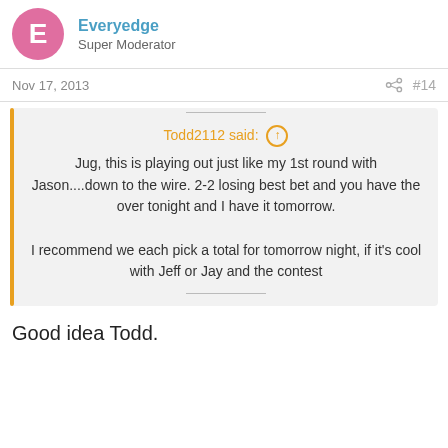Everyedge
Super Moderator
Nov 17, 2013
#14
Todd2112 said: ↑

Jug, this is playing out just like my 1st round with Jason....down to the wire. 2-2 losing best bet and you have the over tonight and I have it tomorrow.

I recommend we each pick a total for tomorrow night, if it's cool with Jeff or Jay and the contest
Good idea Todd.